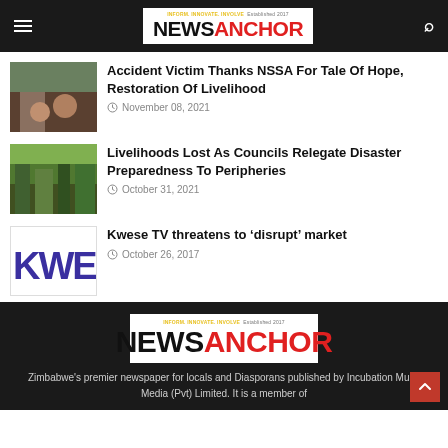NewsAnchor
Accident Victim Thanks NSSA For Tale Of Hope, Restoration Of Livelihood
November 08, 2021
Livelihoods Lost As Councils Relegate Disaster Preparedness To Peripheries
October 31, 2021
Kwese TV threatens to 'disrupt' market
October 26, 2017
[Figure (logo): NewsAnchor logo in footer]
Zimbabwe's premier newspaper for locals and Diasporans published by Incubation Multi-Media (Pvt) Limited. It is a member of